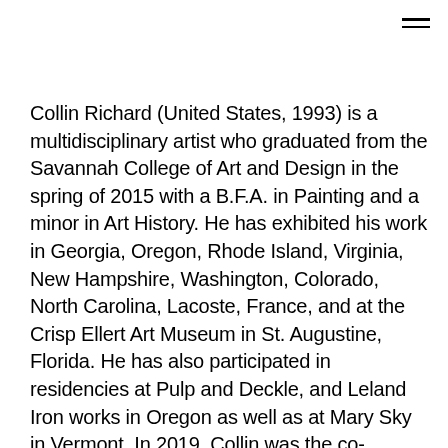Collin Richard (United States, 1993) is a multidisciplinary artist who graduated from the Savannah College of Art and Design in the spring of 2015 with a B.F.A. in Painting and a minor in Art History. He has exhibited his work in Georgia, Oregon, Rhode Island, Virginia, New Hampshire, Washington, Colorado, North Carolina, Lacoste, France, and at the Crisp Ellert Art Museum in St. Augustine, Florida. He has also participated in residencies at Pulp and Deckle, and Leland Iron works in Oregon as well as at Mary Sky in Vermont. In 2019, Collin was the co-founder and curator of Here/There a gallery in North Portland that showcased artists from around the world through critically focused and socially resonant